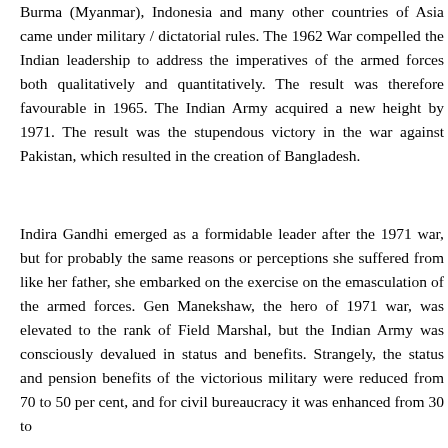Burma (Myanmar), Indonesia and many other countries of Asia came under military / dictatorial rules. The 1962 War compelled the Indian leadership to address the imperatives of the armed forces both qualitatively and quantitatively. The result was therefore favourable in 1965. The Indian Army acquired a new height by 1971. The result was the stupendous victory in the war against Pakistan, which resulted in the creation of Bangladesh.
Indira Gandhi emerged as a formidable leader after the 1971 war, but for probably the same reasons or perceptions she suffered from like her father, she embarked on the exercise on the emasculation of the armed forces. Gen Manekshaw, the hero of 1971 war, was elevated to the rank of Field Marshal, but the Indian Army was consciously devalued in status and benefits. Strangely, the status and pension benefits of the victorious military were reduced from 70 to 50 per cent, and for civil bureaucracy it was enhanced from 30 to